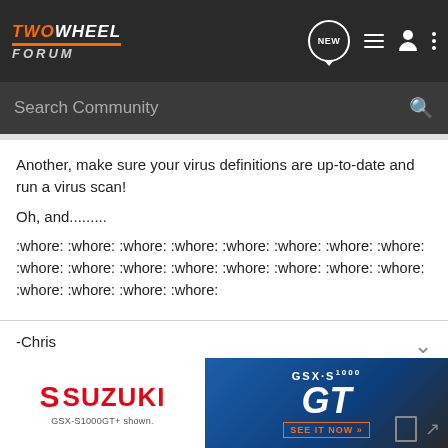[Figure (screenshot): TwoWheel Forum navigation bar with logo, NEW chat bubble, list icon, person icon, and three-dot menu]
[Figure (screenshot): Dark search bar with 'Search Community' placeholder text and magnifying glass icon]
Another, make sure your virus definitions are up-to-date and run a virus scan!
Oh, and.........
:whore: :whore: :whore: :whore: :whore: :whore: :whore: :whore: :whore: :whore: :whore: :whore: :whore: :whore: :whore: :whore: :whore: :whore: :whore: :whore:
-Chris
aka Gas Man
[Figure (screenshot): Suzuki GSX-S1000 GT advertisement banner at the bottom]